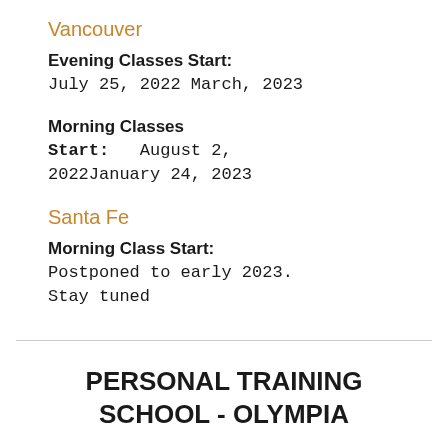Vancouver
Evening Classes Start:
July 25, 2022 March, 2023
Morning Classes Start:   August 2, 2022January 24, 2023
Santa Fe
Morning Class Start:
Postponed to early 2023. Stay tuned
PERSONAL TRAINING SCHOOL - OLYMPIA